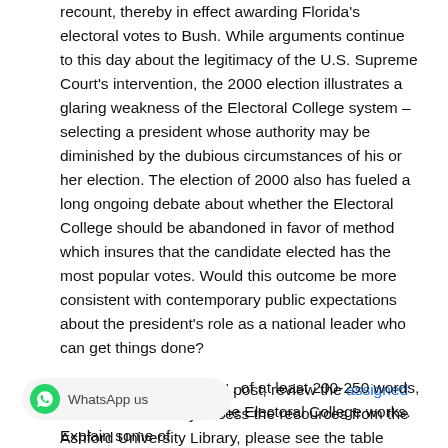recount, thereby in effect awarding Florida's electoral votes to Bush. While arguments continue to this day about the legitimacy of the U.S. Supreme Court's intervention, the 2000 election illustrates a glaring weakness of the Electoral College system – selecting a president whose authority may be diminished by the dubious circumstances of his or her election. The election of 2000 also has fueled a long ongoing debate about whether the Electoral College should be abandoned in favor of method which insures that the candidate elected has the most popular votes. Would this outcome be more consistent with contemporary public expectations about the president's role as a national leader who can get things done?
Before writing your initial post, review the assigned resources. To easily access the resources from the Ashford University Library, please see the table located in the Course Materials section.
...of at least 200-250 words, briefly summarize how the Electoral College works. Explain some of